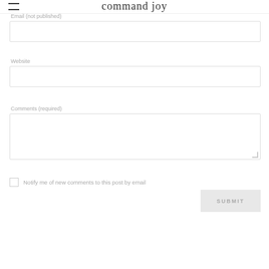command joy
Email (not published)
Website
Comments (required)
Notify me of new comments to this post by email
SUBMIT